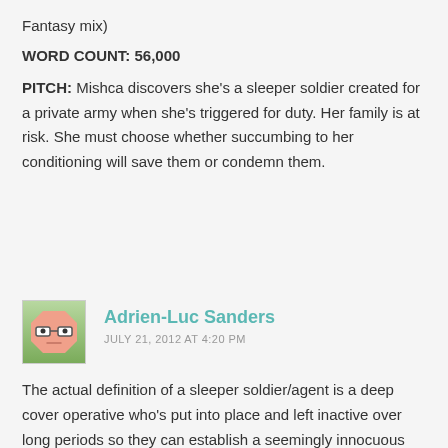Fantasy mix)
WORD COUNT: 56,000
PITCH: Mishca discovers she's a sleeper soldier created for a private army when she's triggered for duty. Her family is at risk. She must choose whether succumbing to her conditioning will save them or condemn them.
Adrien-Luc Sanders
JULY 21, 2012 AT 4:20 PM
The actual definition of a sleeper soldier/agent is a deep cover operative who's put into place and left inactive over long periods so they can establish a seemingly innocuous position among the